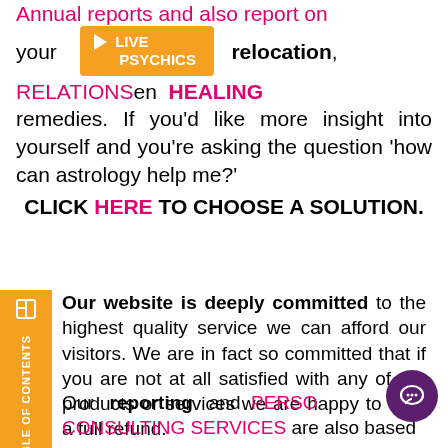Annual reports and also report on your relocation, RELATIONSHIPS en HEALING remedies. If you'd like more insight into yourself and you're asking the question 'how can astrology help me?' CLICK HERE TO CHOOSE A SOLUTION.
Our website is deeply committed to the highest quality service we can afford our visitors. We are in fact so committed that if you are not at all satisfied with any of our products or services we are happy to offer a full refund.
Our reporting and PERSONAL CONSULTING SERVICES are also based